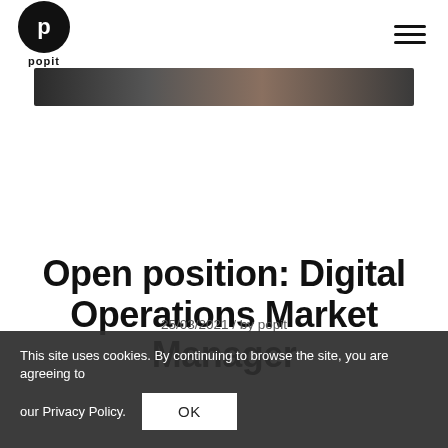popit
[Figure (photo): Hero image banner, dark with partial face/hand visible]
Open position: Digital Operations Market Manager
25/03/2021 / by popit
This site uses cookies. By continuing to browse the site, you are agreeing to our Privacy Policy.